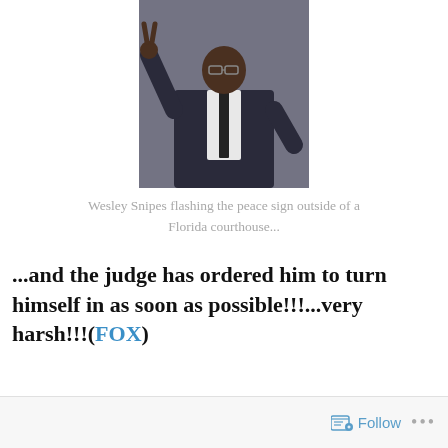[Figure (photo): A man in a dark suit making a peace sign gesture, standing outside a courthouse]
Wesley Snipes flashing the peace sign outside of a Florida courthouse...
...and the judge has ordered him to turn himself in as soon as possible!!!...very harsh!!!(FOX)
Follow ...